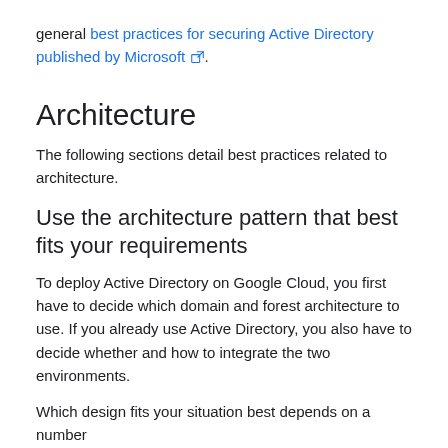general best practices for securing Active Directory published by Microsoft.
Architecture
The following sections detail best practices related to architecture.
Use the architecture pattern that best fits your requirements
To deploy Active Directory on Google Cloud, you first have to decide which domain and forest architecture to use. If you already use Active Directory, you also have to decide whether and how to integrate the two environments.
Which design fits your situation best depends on a number of factors, including but not from: